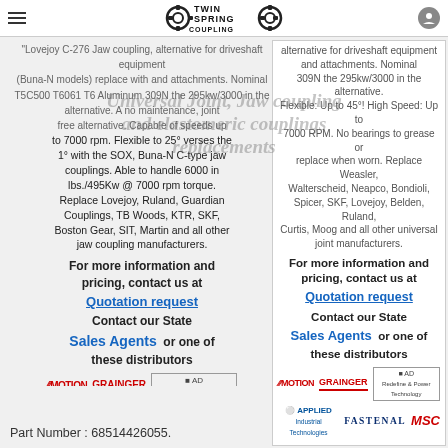Twin Spring Coupling — Universal Joint, Jaw coupling and elastomeric couplings replacements
Lovejoy C-276 Jaw coupling ... alternative for driveshaft equipment (Buna-N models) replace with ... and attachments. Nominal T5C500 T6061 T6 Aluminum ... 309N the 295kw/3000 in the alternative. A no maintenance, joint free alternative. Capable of speeds up to 7000 rpm. Flexible to 25° verses the 1° with the SOX, Buna-N C-type jaw couplings. Able to handle 6000 in lbs./495Kw @ 7000 rpm torque. Replace Lovejoy, Ruland, Guardian Couplings, TB Woods, KTR, SKF, Boston Gear, SIT, Martin and all other jaw coupling manufacturers.
For more information and pricing, contact us at
Quotation request
Contact our State Sales Agents or one of these distributors
[Figure (logo): Distributor logos: Motion, Grainger, AD, Applied Industrial Technologies, Fastenal, MSC]
alternative for driveshaft equipment ... and attachments. Nominal ... 309N the 295kw/3000 in the alternative. Flexible: Up to 45°! High Speed: Up to 7000 RPM. No bearings to grease or replace when worn. Replace Weasler, Walterscheid, Neapco, Bondioli, Spicer, SKF, Lovejoy, Belden, Ruland, Curtis, Moog and all other universal joint manufacturers.
For more information and pricing, contact us at
Quotation request
Contact our State Sales Agents or one of these distributors
[Figure (logo): Distributor logos: Motion, Grainger, AD, Applied Industrial Technologies, Fastenal, MSC]
Part Number : 68514426055.